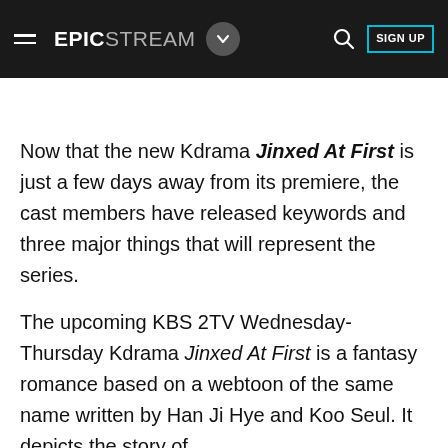EPICSTREAM
Now that the new Kdrama Jinxed At First is just a few days away from its premiere, the cast members have released keywords and three major things that will represent the series.
The upcoming KBS 2TV Wednesday-Thursday Kdrama Jinxed At First is a fantasy romance based on a webtoon of the same name written by Han Ji Hye and Koo Seul. It depicts the story of